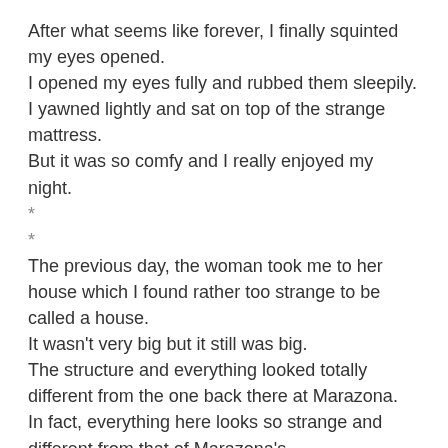After what seems like forever, I finally squinted my eyes opened.
I opened my eyes fully and rubbed them sleepily.
I yawned lightly and sat on top of the strange mattress.
But it was so comfy and I really enjoyed my night.
*
*
The previous day, the woman took me to her house which I found rather too strange to be called a house.
It wasn't very big but it still was big.
The structure and everything looked totally different from the one back there at Marazona.
In fact, everything here looks so strange and different from that of Marazona's.
The woman whom I haven't quite gotten familiar with, made me take my bath under something like a rain, but she called it *shower*.
Jeez! I haven't seen something like that before.
She taught me how to use it since I couldn't; I don't even know how to use it.